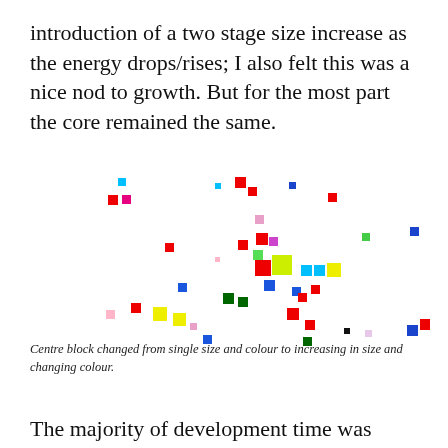introduction of a two stage size increase as the energy drops/rises; I also felt this was a nice nod to growth. But for the most part the core remained the same.
[Figure (illustration): A scatter of small coloured squares of varying sizes distributed across a white area. Colours include red, blue, cyan, green, yellow, magenta/pink, purple, and lime green. Some squares are larger than others, representing the two-stage size increase concept. The squares are randomly distributed across the space.]
Centre block changed from single size and colour to increasing in size and changing colour.
The majority of development time was